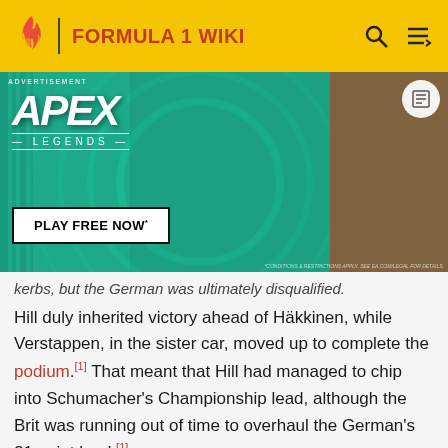FORMULA 1 WIKI
[Figure (screenshot): Apex Legends advertisement banner with green background, game characters, and 'PLAY FREE NOW' button]
kerbs, but the German was ultimately disqualified.
Hill duly inherited victory ahead of Häkkinen, while Verstappen, in the sister car, moved up to complete the podium.[1] That meant that Hill had managed to chip into Schumacher's Championship lead, although the Brit was running out of time to overhaul the German's 21 point lead.[1]
Background